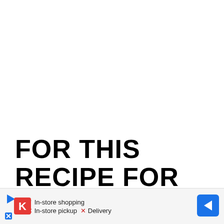FOR THIS RECIPE FOR FLATBREAD CRACKERS (OR CHIPS)
[Figure (screenshot): Advertisement bar at bottom of page showing Kroger store info: In-store shopping (checkmark), In-store pickup (X), Delivery (X), with navigation arrow icon]